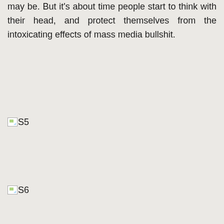may be. But it's about time people start to think with their head, and protect themselves from the intoxicating effects of mass media bullshit.
[Figure (other): Broken image placeholder labeled S5]
[Figure (other): Broken image placeholder labeled S6]